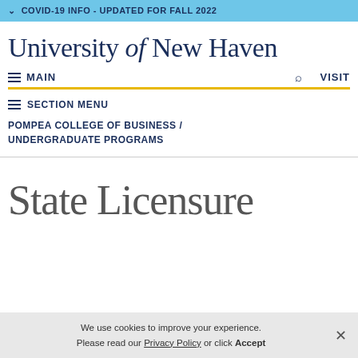COVID-19 INFO - UPDATED FOR FALL 2022
University of New Haven
MAIN  VISIT
SECTION MENU
POMPEA COLLEGE OF BUSINESS / UNDERGRADUATE PROGRAMS
State Licensure
We use cookies to improve your experience. Please read our Privacy Policy or click Accept